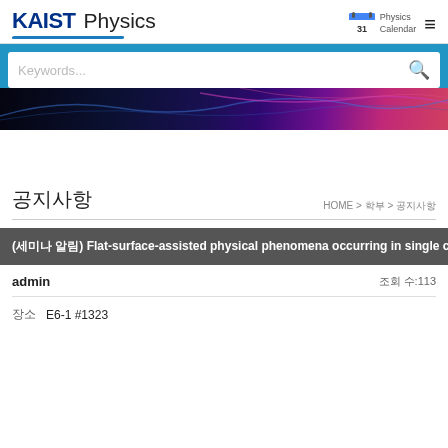KAIST Physics
Keywords...
[Figure (photo): Dark abstract banner image with blue and purple wave patterns]
공지사항
HOME > 학부 > 공지사항
(세미나 알림) Flat-surface-assisted physical phenomena occurring in single cr
admin
조회 수:113
장소   E6-1 #1323